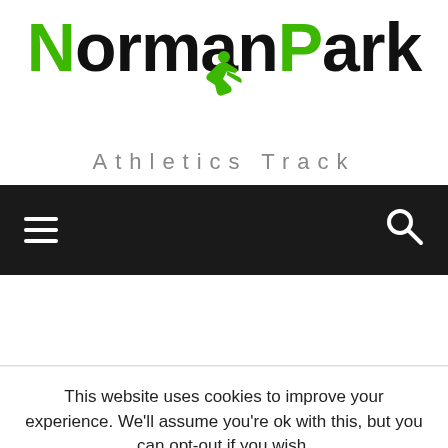[Figure (logo): Norman Park Athletics Track logo with green runner silhouette icon, bold 'NormanPark' text in green and black, and 'Athletics Track' subtitle in grey spaced lettering]
Navigation bar with hamburger menu icon and search icon on dark background
This website uses cookies to improve your experience. We'll assume you're ok with this, but you can opt-out if you wish.
Cookie settings   ACCEPT